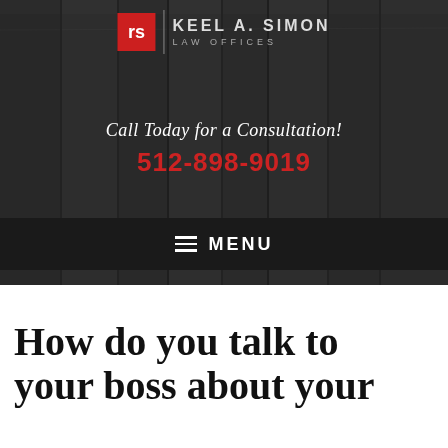[Figure (screenshot): Law firm website header with dark wood background, logo (red square with 'rs' initials), firm name 'KEEL A. SIMON LAW OFFICES', consultation call-to-action and phone number, and a dark navigation menu bar with hamburger icon and MENU text]
Call Today for a Consultation!
512-898-9019
MENU
How do you talk to your boss about your